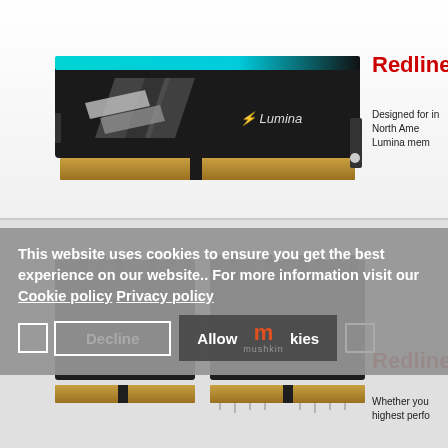[Figure (photo): Mushkin Redline Lumina RGB DDR4 RAM stick with cyan/teal RGB lighting on top and silver diagonal heat spreader accents, black PCB, gold contacts at bottom. 'Lumina' branding with lightning bolt logo visible.]
Redline
Designed for in North Ame Lumina mem
[Figure (photo): Two Mushkin Redline DDR4 RAM sticks side by side with aggressive black angular heat spreaders, gold contacts at bottom. Lower section of image.]
Redline
Whether you highest perfo
This website uses cookies to ensure you get the best experience on our website.. For more information visit our Cookie policy Privacy policy
Decline   Allow cookies